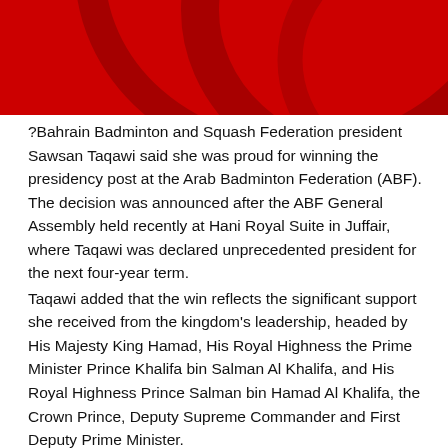[Figure (illustration): Red decorative header banner with swirling dark red circular arc design on a bright red background]
?Bahrain Badminton and Squash Federation president Sawsan Taqawi said she was proud for winning the presidency post at the Arab Badminton Federation (ABF). The decision was announced after the ABF General Assembly held recently at Hani Royal Suite in Juffair, where Taqawi was declared unprecedented president for the next four-year term. Taqawi added that the win reflects the significant support she received from the kingdom's leadership, headed by His Majesty King Hamad, His Royal Highness the Prime Minister Prince Khalifa bin Salman Al Khalifa, and His Royal Highness Prince Salman bin Hamad Al Khalifa, the Crown Prince, Deputy Supreme Commander and First Deputy Prime Minister. She also expressed gratitude to Shaikh Nasser bin Hamad Al Khalifa...